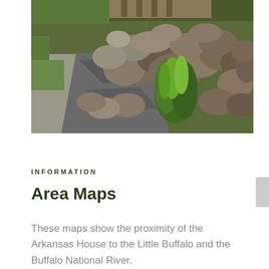[Figure (photo): Outdoor photo showing a stone pathway with large rocks and boulders forming a wall. Green ornamental grass plants grow between the rocks. Sunlight casts shadows on a concrete/asphalt path.]
INFORMATION
Area Maps
These maps show the proximity of the Arkansas House to the Little Buffalo and the Buffalo National River.